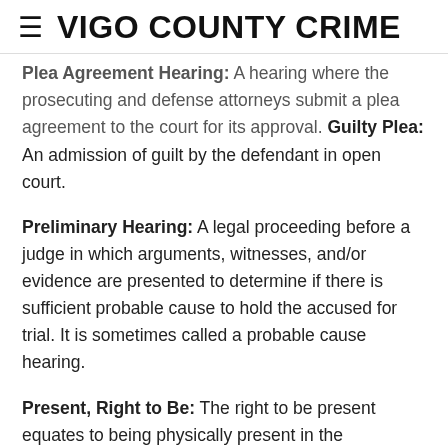VIGO COUNTY CRIME
Plea Agreement Hearing: A hearing where the prosecuting and defense attorneys submit a plea agreement to the court for its approval. Guilty Plea: An admission of guilt by the defendant in open court.
Preliminary Hearing: A legal proceeding before a judge in which arguments, witnesses, and/or evidence are presented to determine if there is sufficient probable cause to hold the accused for trial. It is sometimes called a probable cause hearing.
Present, Right to Be: The right to be present equates to being physically present in the court/hearing room during the course of criminal proceedings.
Pre-trial Release Hearing: Any hearing to determine